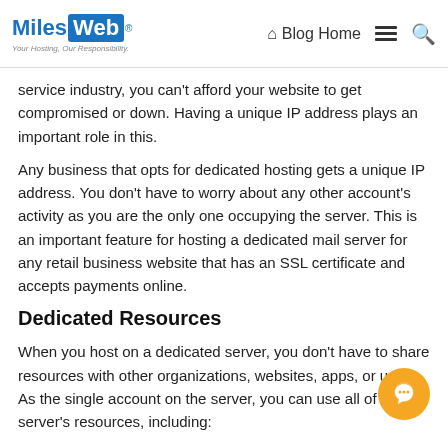MilesWeb | Blog Home
service industry, you can't afford your website to get compromised or down. Having a unique IP address plays an important role in this.
Any business that opts for dedicated hosting gets a unique IP address. You don't have to worry about any other account's activity as you are the only one occupying the server. This is an important feature for hosting a dedicated mail server for any retail business website that has an SSL certificate and accepts payments online.
Dedicated Resources
When you host on a dedicated server, you don't have to share resources with other organizations, websites, apps, or users. As the single account on the server, you can use all of the server's resources, including:
Disk space